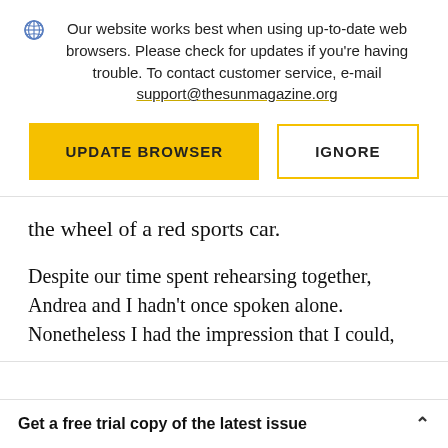Our website works best when using up-to-date web browsers. Please check for updates if you're having trouble. To contact customer service, e-mail support@thesunmagazine.org
[Figure (other): Two buttons: a yellow filled button labeled UPDATE BROWSER and a yellow-outlined white button labeled IGNORE]
the wheel of a red sports car.
Despite our time spent rehearsing together, Andrea and I hadn't once spoken alone. Nonetheless I had the impression that I could,
Get a free trial copy of the latest issue